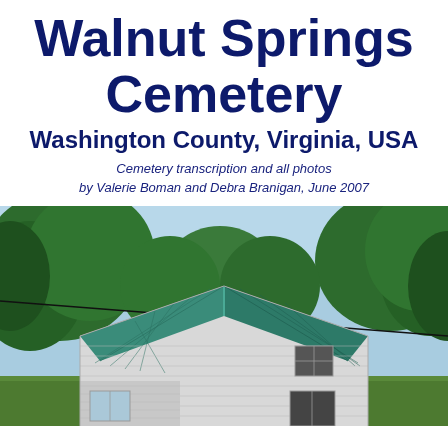Walnut Springs Cemetery
Washington County, Virginia, USA
Cemetery transcription and all photos by Valerie Boman and Debra Branigan, June 2007
[Figure (photo): Exterior photo of a white clapboard church or community building with a green metal gabled roof, surrounded by green trees under a blue sky.]